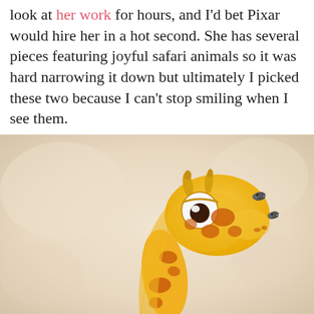look at her work for hours, and I'd bet Pixar would hire her in a hot second. She has several pieces featuring joyful safari animals so it was hard narrowing it down but ultimately I picked these two because I can't stop smiling when I see them.
[Figure (illustration): Cartoon illustration of a cute baby giraffe with large expressive eyes, orange and brown spotted neck, small horns, looking at two small birds. Soft warm beige blurred background.]